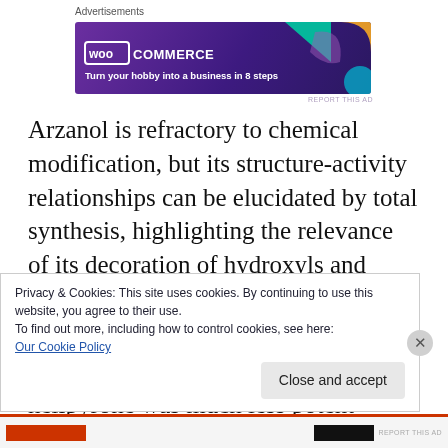Advertisements
[Figure (illustration): WooCommerce advertisement banner: purple background with teal and orange decorative shapes, WooCommerce logo on left, text 'Turn your hobby into a business in 8 steps' on right]
Arzanol is refractory to chemical modification, but its structure-activity relationships can be elucidated by total synthesis, highlighting the relevance of its decoration of hydroxyls and heterodimeric structure for the inhibition of mPGES-1 and 5LO.37 The symmetrical pyrone dimer helipyrone was much less potent against
Privacy & Cookies: This site uses cookies. By continuing to use this website, you agree to their use.
To find out more, including how to control cookies, see here:
Our Cookie Policy